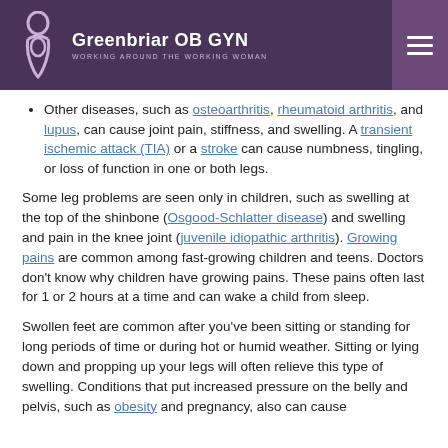Greenbriar OB GYN — WORKING AROUND THE WORKING WOMAN
Problems affecting the arteries (peripheral arterial disease) can cause cramping pain. It occurs with activities, such as walking and improves with rest.
Other diseases, such as osteoarthritis, rheumatoid arthritis, and lupus, can cause joint pain, stiffness, and swelling. A transient ischemic attack (TIA) or a stroke can cause numbness, tingling, or loss of function in one or both legs.
Some leg problems are seen only in children, such as swelling at the top of the shinbone (Osgood-Schlatter disease) and swelling and pain in the knee joint (juvenile idiopathic arthritis). Growing pains are common among fast-growing children and teens. Doctors don't know why children have growing pains. These pains often last for 1 or 2 hours at a time and can wake a child from sleep.
Swollen feet are common after you've been sitting or standing for long periods of time or during hot or humid weather. Sitting or lying down and propping up your legs will often relieve this type of swelling. Conditions that put increased pressure on the belly and pelvis, such as obesity and pregnancy, also can cause